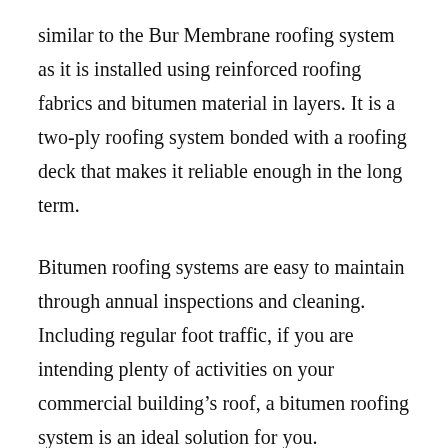similar to the Bur Membrane roofing system as it is installed using reinforced roofing fabrics and bitumen material in layers. It is a two-ply roofing system bonded with a roofing deck that makes it reliable enough in the long term.
Bitumen roofing systems are easy to maintain through annual inspections and cleaning. Including regular foot traffic, if you are intending plenty of activities on your commercial building’s roof, a bitumen roofing system is an ideal solution for you.